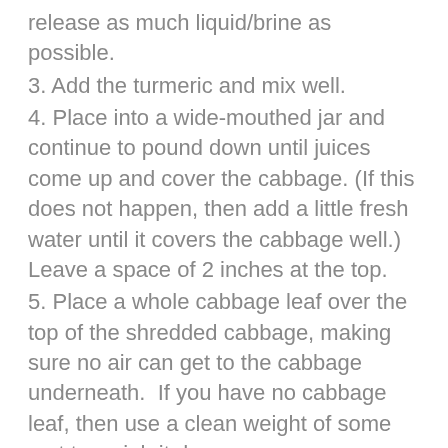release as much liquid/brine as possible.
3. Add the turmeric and mix well.
4. Place into a wide-mouthed jar and continue to pound down until juices come up and cover the cabbage. (If this does not happen, then add a little fresh water until it covers the cabbage well.) Leave a space of 2 inches at the top.
5. Place a whole cabbage leaf over the top of the shredded cabbage, making sure no air can get to the cabbage underneath.  If you have no cabbage leaf, then use a clean weight of some sort to weigh it down.
6. Leave at room temperature for a week or more.  You can eat it after 3 days, but it’s much tastier and contains more probiotics if left longer.  Transfer to fridge once you open it or after a month or two.